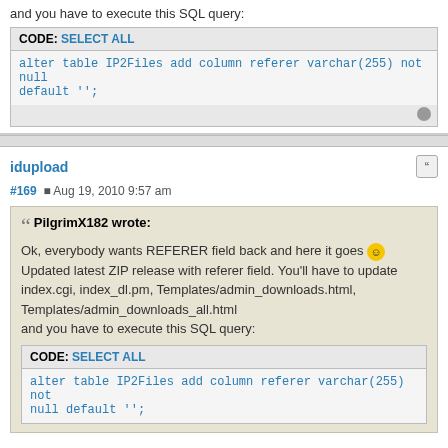and you have to execute this SQL query:
CODE: SELECT ALL
alter table IP2Files add column referer varchar(255) not null default '';
idupload
#169  Aug 19, 2010 9:57 am
PilgrimX182 wrote:
Ok, everybody wants REFERER field back and here it goes. Updated latest ZIP release with referer field. You'll have to update index.cgi, index_dl.pm, Templates/admin_downloads.html, Templates/admin_downloads_all.html and you have to execute this SQL query:
CODE: SELECT ALL
alter table IP2Files add column referer varchar(255) not null default '';
admin I already sent mail to art to have access my ftp to check my index.cgi, it seems trouble to set traffic bandwidth.